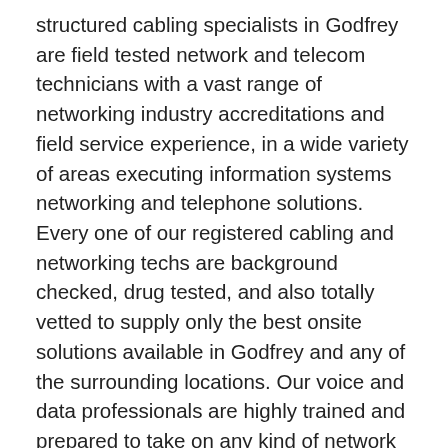structured cabling specialists in Godfrey are field tested network and telecom technicians with a vast range of networking industry accreditations and field service experience, in a wide variety of areas executing information systems networking and telephone solutions. Every one of our registered cabling and networking techs are background checked, drug tested, and also totally vetted to supply only the best onsite solutions available in Godfrey and any of the surrounding locations. Our voice and data professionals are highly trained and prepared to take on any kind of network task that you might need from straightforward data and phone repairs to informative network evaluations and supplying professional structured cabling services for hundreds of voice and data network drops in existing or brand-new office locations. We provide top quality onsite repair solutions for your existing LAN/WAN as well, consisting of recabling, testing, certifying, cabling cleanup, and telecom tag & locate services. Regardless of what your low voltage inside wiring needs are, we have an onsite engineer and onsite solution for you. Give us a telephone call today and learn